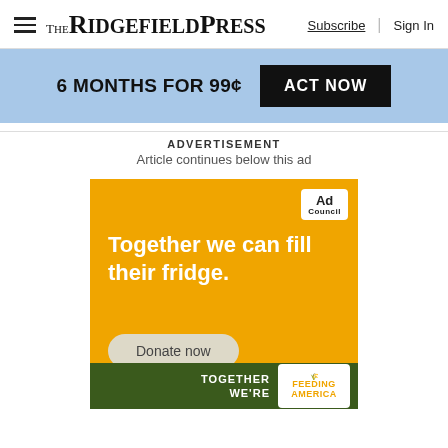The Ridgefield Press — Subscribe | Sign In
6 MONTHS FOR 99¢  ACT NOW
ADVERTISEMENT
Article continues below this ad
[Figure (infographic): Ad Council / Feeding America advertisement on orange background. Text: 'Together we can fill their fridge.' with a 'Donate now' button and Feeding America logo at the bottom on dark green bar.]